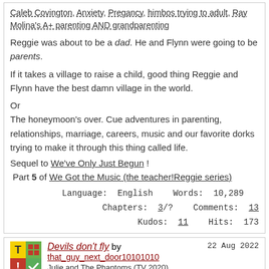Caleb Covington, Anxiety, Pregancy, himbos trying to adult, Ray Molina's A+ parenting AND grandparenting
Reggie was about to be a dad. He and Flynn were going to be parents.
If it takes a village to raise a child, good thing Reggie and Flynn have the best damn village in the world.
Or
The honeymoon's over. Cue adventures in parenting, relationships, marriage, careers, music and our favorite dorks trying to make it through this thing called life.
Sequel to We've Only Just Begun !
Part 5 of We Got the Music (the teacher!Reggie series)
Language: English   Words: 10,289   Chapters: 3/?   Comments: 13   Kudos: 11   Hits: 173
Devils don't fly by that_guy_next_door10101010   22 Aug 2022
Julie and The Phantoms (TV 2020)
Graphic Depictions Of Violence, Major Character Death, Luke Patterson/Reggie Peters (Julie and The Phantoms), Alex Mercer/Willie